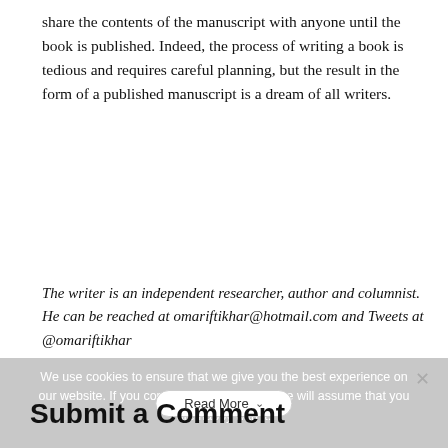share the contents of the manuscript with anyone until the book is published. Indeed, the process of writing a book is tedious and requires careful planning, but the result in the form of a published manuscript is a dream of all writers.
The writer is an independent researcher, author and columnist. He can be reached at omariftikhar@hotmail.com and Tweets at @omariftikhar
We use cookies to ensure that we give you the best experience on our website. If you continue to use this site we will assume that you are happy with it.
Submit a Comment